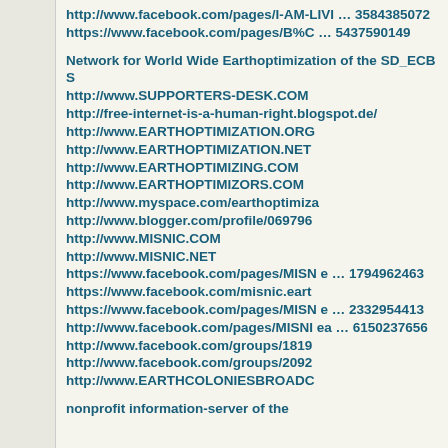http://www.facebook.com/pages/I-AM-LIVI … 3584385072
https://www.facebook.com/pages/B%C … 5437590149
Network for World Wide Earthoptimization of the SD_ECBS
http://www.SUPPORTERS-DESK.COM
http://free-internet-is-a-human-right.blogspot.de/
http://www.EARTHOPTIMIZATION.ORG
http://www.EARTHOPTIMIZATION.NET
http://www.EARTHOPTIMIZING.COM
http://www.EARTHOPTIMIZORS.COM
http://www.myspace.com/earthoptimiza
http://www.blogger.com/profile/069796
http://www.MISNIC.COM
http://www.MISNIC.NET
https://www.facebook.com/pages/MISN e … 1794962463
https://www.facebook.com/misnic.eart
https://www.facebook.com/pages/MISN e … 2332954413
http://www.facebook.com/pages/MISNI ea … 6150237656
http://www.facebook.com/groups/1819
http://www.facebook.com/groups/2092
http://www.EARTHCOLONIESBROADC
nonprofit information-server of the